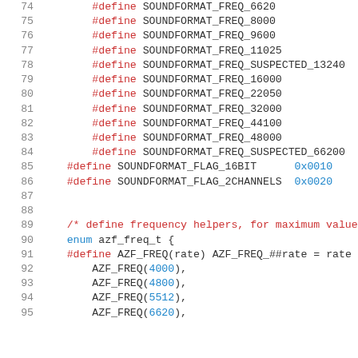[Figure (screenshot): Source code listing showing C preprocessor #define macros for SOUNDFORMAT frequency constants (lines 74-86), followed by enum definition for azf_freq_t with AZF_FREQ macro (lines 89-95). Uses syntax highlighting: red for keywords/macros, blue for numeric values, gray for line numbers.]